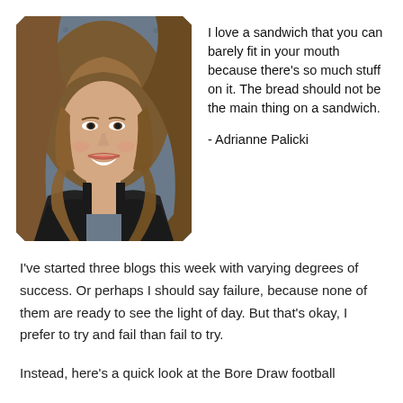[Figure (photo): Photo of a woman with long wavy blonde hair wearing a black dress, smiling, at what appears to be a media event with a branded backdrop.]
I love a sandwich that you can barely fit in your mouth because there's so much stuff on it. The bread should not be the main thing on a sandwich.

- Adrianne Palicki
I've started three blogs this week with varying degrees of success. Or perhaps I should say failure, because none of them are ready to see the light of day. But that's okay, I prefer to try and fail than fail to try.

Instead, here's a quick look at the Bore Draw football